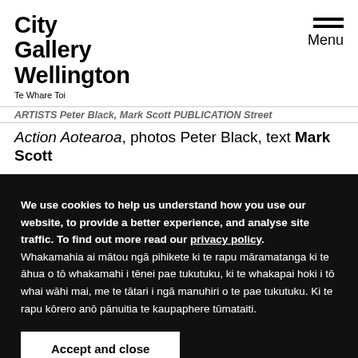City Gallery Wellington Te Whare Toi
ARTISTS Peter Black, Mark Scott PUBLICATION Street Action Aotearoa, photos Peter Black, text Mark Scott
In the summer of 1984, Wellington photographer
We use cookies to help us understand how you use our website, to provide a better experience, and analyse site traffic. To find out more read our privacy policy. Whakamahia ai mātou ngā pihikete ki te rapu māramatanga ki te āhua o tō whakamahi i tēnei pae tukutuku, ki te whakapai hoki i tō whai wāhi mai, me te tātari i ngā manuhiri o te pae tukutuku. Ki te rapu kōrero anō pānuitia te kaupaphere tūmataiti.
Accept and close